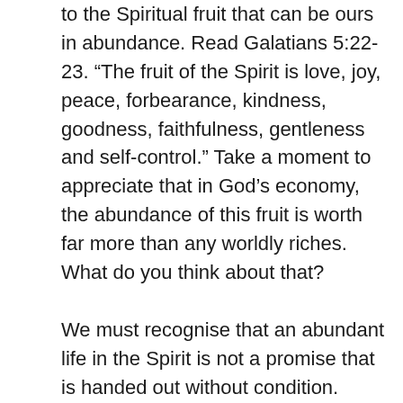to the Spiritual fruit that can be ours in abundance. Read Galatians 5:22-23. “The fruit of the Spirit is love, joy, peace, forbearance, kindness, goodness, faithfulness, gentleness and self-control.” Take a moment to appreciate that in God’s economy, the abundance of this fruit is worth far more than any worldly riches. What do you think about that?
We must recognise that an abundant life in the Spirit is not a promise that is handed out without condition. What do I mean by that? Yes, God gives us unconditional love, but we can only receive His promises if we do our part. Whether this promise is fulfilled or not depends on us! How? Firstly, this promise is dependent on our heart condition towards God. Are we pursuing Him more than the promise of fruit?